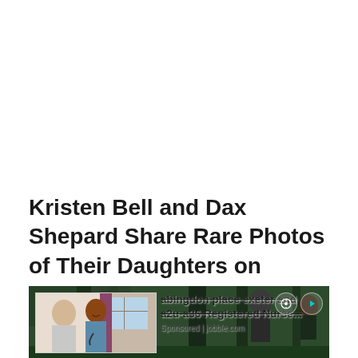Kristen Bell and Dax Shepard Share Rare Photos of Their Daughters on Family Vacation
[Figure (photo): A video thumbnail showing two women outdoors in a dark wooded setting. An overlay advertisement shows a nurse with an elderly patient, with text 'abingdon place exeter and a2u-a36 Registered Nurse...' and 'Sponsored | jobble.com'. Icons for video player controls visible in top right.]